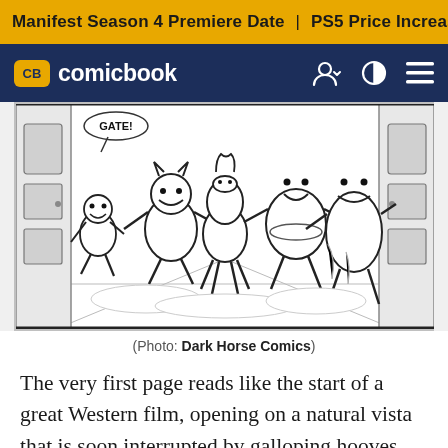Manifest Season 4 Premiere Date | PS5 Price Increase | Jon M
CB comicbook
[Figure (illustration): Black and white comic book illustration showing a chaotic scene of cartoon characters — including anthropomorphic animals and large figures — stampeding through what appears to be a gate or doorway. A speech bubble reads 'GATE!' on the left side.]
(Photo: Dark Horse Comics)
The very first page reads like the start of a great Western film, opening on a natural vista that is soon interrupted by galloping hooves driven hard in the face of some unseen enemy. As a reader, you already start to build to the